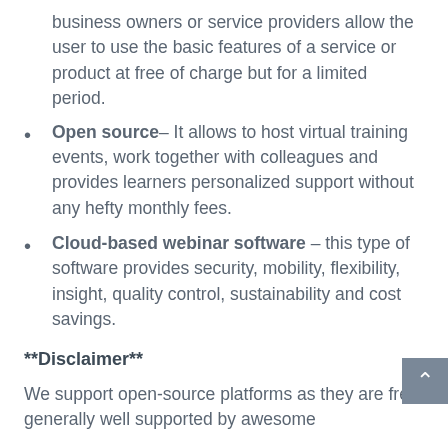business owners or service providers allow the user to use the basic features of a service or product at free of charge but for a limited period.
Open source– It allows to host virtual training events, work together with colleagues and provides learners personalized support without any hefty monthly fees.
Cloud-based webinar software – this type of software provides security, mobility, flexibility, insight, quality control, sustainability and cost savings.
**Disclaimer**
We support open-source platforms as they are free, generally well supported by awesome developers, ...